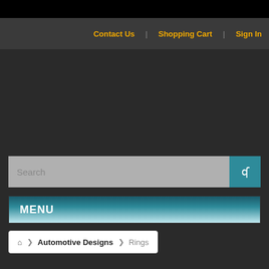Contact Us  Shopping Cart  Sign In
Search
MENU
Automotive Designs > Rings